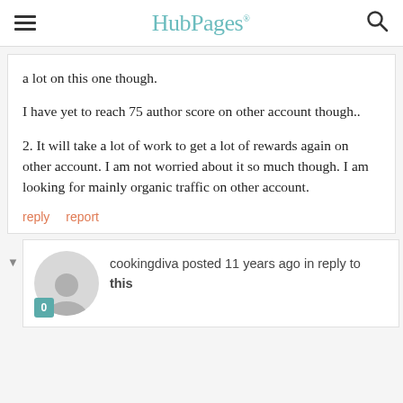HubPages
a lot on this one though.
I have yet to reach 75 author score on other account though..
2. It will take a lot of work to get a lot of rewards again on other account. I am not worried about it so much though. I am looking for mainly organic traffic on other account.
reply   report
cookingdiva posted 11 years ago in reply to this